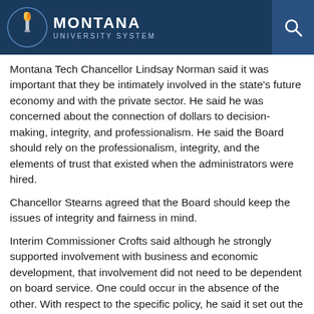MONTANA UNIVERSITY SYSTEM
Montana Tech Chancellor Lindsay Norman said it was important that they be intimately involved in the state's future economy and with the private sector. He said he was concerned about the connection of dollars to decision-making, integrity, and professionalism. He said the Board should rely on the professionalism, integrity, and the elements of trust that existed when the administrators were hired.
Chancellor Stearns agreed that the Board should keep the issues of integrity and fairness in mind.
Interim Commissioner Crofts said although he strongly supported involvement with business and economic development, that involvement did not need to be dependent on board service. One could occur in the absence of the other. With respect to the specific policy, he said it set out the possibility that the Board might approve a president or chancellor serving on a corporate, for-profit board, but that such approval was dependent on reaching the conclusion that no apparent real or perceived conflict of interest was involved.